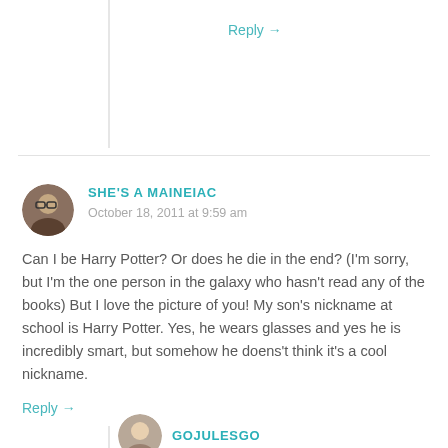Reply →
SHE'S A MAINEIAC
October 18, 2011 at 9:59 am
Can I be Harry Potter? Or does he die in the end? (I'm sorry, but I'm the one person in the galaxy who hasn't read any of the books) But I love the picture of you! My son's nickname at school is Harry Potter. Yes, he wears glasses and yes he is incredibly smart, but somehow he doens't think it's a cool nickname.
Reply →
GOJULESGO